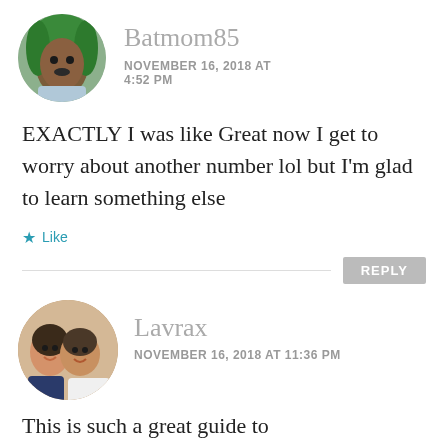[Figure (photo): Circular avatar photo of user Batmom85, a person with green braids]
Batmom85
NOVEMBER 16, 2018 AT 4:52 PM
EXACTLY I was like Great now I get to worry about another number lol but I'm glad to learn something else
Like
REPLY
[Figure (photo): Circular avatar photo of user Lavrax, two young women smiling]
Lavrax
NOVEMBER 16, 2018 AT 11:36 PM
This is such a great guide to